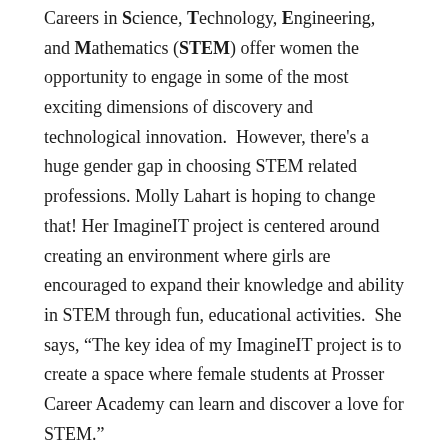Careers in Science, Technology, Engineering, and Mathematics (STEM) offer women the opportunity to engage in some of the most exciting dimensions of discovery and technological innovation. However, there's a huge gender gap in choosing STEM related professions. Molly Lahart is hoping to change that! Her ImagineIT project is centered around creating an environment where girls are encouraged to expand their knowledge and ability in STEM through fun, educational activities. She says, “The key idea of my ImagineIT project is to create a space where female students at Prosser Career Academy can learn and discover a love for STEM.”

As a ninth grade math teacher, Lahart is also concerned that by the time students reach the high school level, they’ve lost their sense of curiosity-especially in